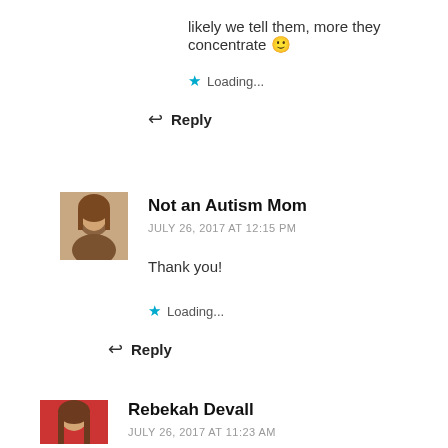likely we tell them, more they concentrate 🙂
Loading...
Reply
[Figure (photo): Avatar photo of Not an Autism Mom commenter, woman with brown hair]
Not an Autism Mom
JULY 26, 2017 AT 12:15 PM
Thank you!
Loading...
Reply
[Figure (photo): Avatar photo of Rebekah Devall, woman with long brown hair wearing red]
Rebekah Devall
JULY 26, 2017 AT 11:23 AM